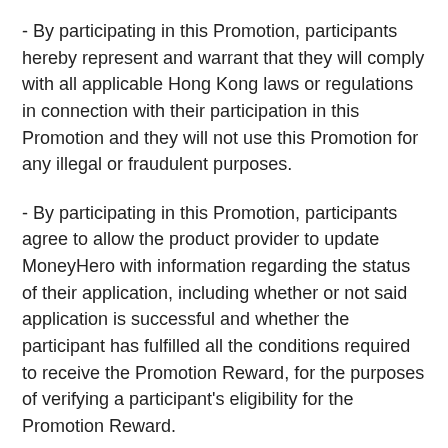- By participating in this Promotion, participants hereby represent and warrant that they will comply with all applicable Hong Kong laws or regulations in connection with their participation in this Promotion and they will not use this Promotion for any illegal or fraudulent purposes.
- By participating in this Promotion, participants agree to allow the product provider to update MoneyHero with information regarding the status of their application, including whether or not said application is successful and whether the participant has fulfilled all the conditions required to receive the Promotion Reward, for the purposes of verifying a participant's eligibility for the Promotion Reward.
- By participating in this Promotion, participants consent to MoneyHero sharing their personal details with the product provider in order to accurately track the number of applications and/or approvals, as well as to confirm whether